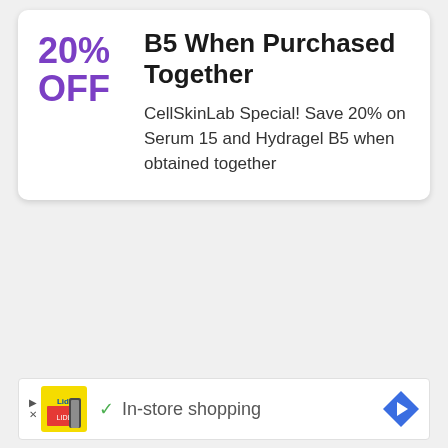20% OFF
B5 When Purchased Together
CellSkinLab Special! Save 20% on Serum 15 and Hydragel B5 when obtained together
[Figure (infographic): Advertisement banner with Lidl logo image, a green checkmark, text 'In-store shopping', and a blue navigation arrow icon]